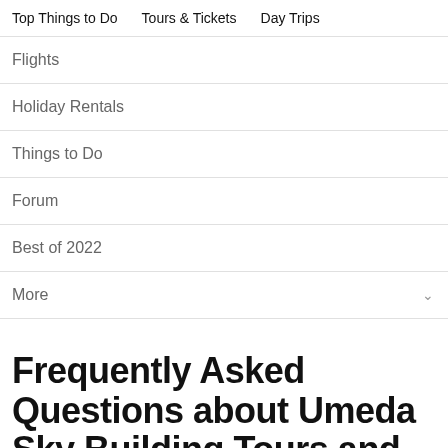Top Things to Do | Tours & Tickets | Day Trips
Flights
Holiday Rentals
Things to Do
Forum
Best of 2022
More
Frequently Asked Questions about Umeda Sky Building Tours and Tickets